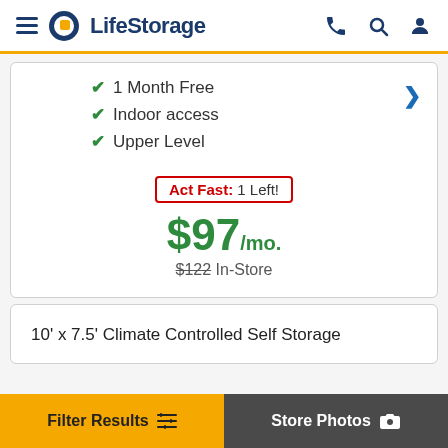LifeStorage
1 Month Free
Indoor access
Upper Level
Act Fast: 1 Left!
$97/mo.
$122 In-Store
10' x 7.5' Climate Controlled Self Storage
Filter Results | Store Photos